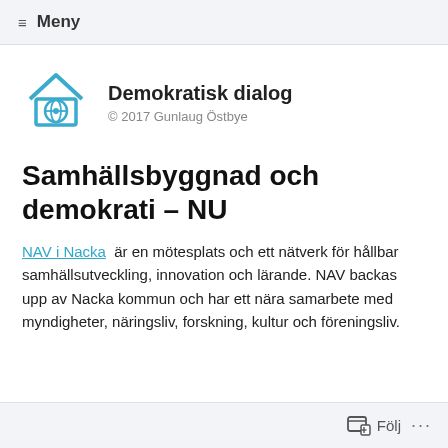≡ Meny
[Figure (logo): Demokratisk dialog logo — house shape with globe/eye icon in blue]
Demokratisk dialog
© 2017 Gunlaug Östbye
Samhällsbyggnad och demokrati – NU
NAV i Nacka är en mötesplats och ett nätverk för hållbar samhällsutveckling, innovation och lärande. NAV backas upp av Nacka kommun och har ett nära samarbete med myndigheter, näringsliv, forskning, kultur och föreningsliv.
Följ ...